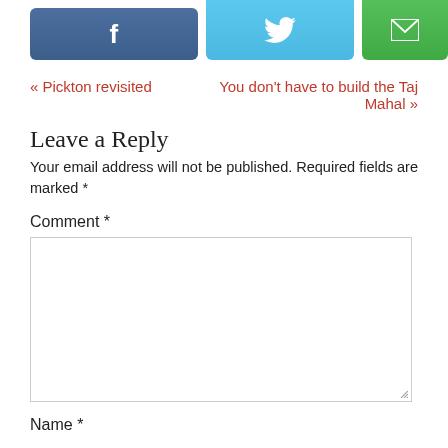[Figure (other): Social share buttons: Facebook (blue-grey), Twitter (light blue with bird icon), Email (green with envelope icon)]
« Pickton revisited
You don't have to build the Taj Mahal »
Leave a Reply
Your email address will not be published. Required fields are marked *
Comment *
[Figure (other): Empty comment textarea input box]
Name *